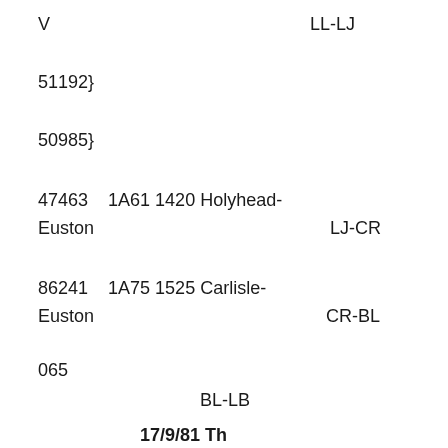V                                    LL-LJ
51192}
50985}
47463    1A61 1420 Holyhead-Euston                              LJ-CR
86241    1A75 1525 Carlisle-Euston                              CR-BL
065
BL-LB
17/9/81 Th